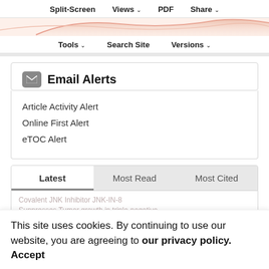Split-Screen  Views  PDF  Share
[Figure (other): Partial chart with peach/salmon colored curves visible at top of page]
Tools  Search Site  Versions
Email Alerts
Article Activity Alert
Online First Alert
eTOC Alert
Latest  Most Read  Most Cited
Covalent JNK Inhibitor JNK-IN-8 Suppresses Tumor growth in triple-negative breast cancer by activating TFEB and TFE3 mediated lysosome biogenesis and
This site uses cookies. By continuing to use our website, you are agreeing to our privacy policy. Accept